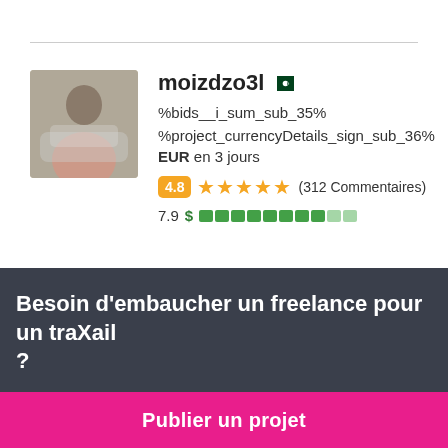moizdzo3l
%bids__i_sum_sub_35% %project_currencyDetails_sign_sub_36% EUR en 3 jours
4.8 ★★★★★ (312 Commentaires)
7.9 $ ████████░░
Besoin d'embaucher un freelance pour un travail ?
Publier un projet